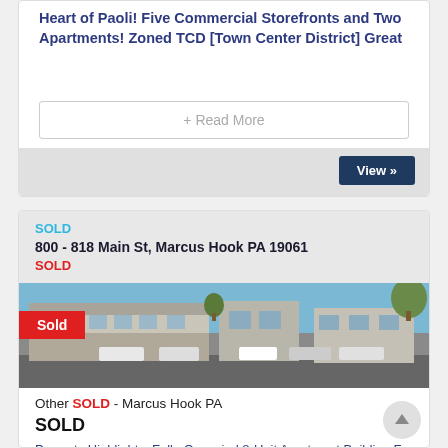Heart of Paoli! Five Commercial Storefronts and Two Apartments! Zoned TCD [Town Center District] Great
+ Read More
View »
SOLD
800 - 818 Main St, Marcus Hook PA 19061
SOLD
[Figure (photo): Street-level photo of commercial/residential buildings at 800-818 Main St, Marcus Hook PA with a 'Sold' tag overlay, cars parked in front, trees visible in background]
Other SOLD - Marcus Hook PA
SOLD
Property Highlights: Fully-Occupied 8-Unit Apartment Building For Sale In Marcus Hook